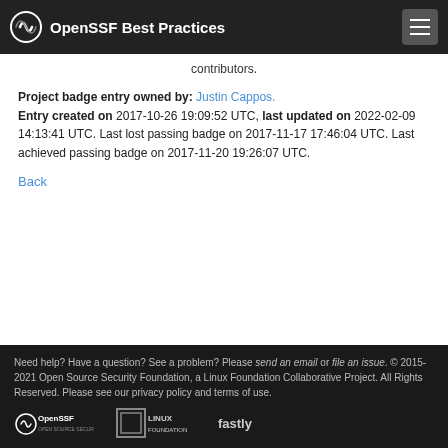OpenSSF Best Practices
contributors.
Project badge entry owned by: Justin Cappos. Entry created on 2017-10-26 19:09:52 UTC, last updated on 2022-02-09 14:13:41 UTC. Last lost passing badge on 2017-11-17 17:46:04 UTC. Last achieved passing badge on 2017-11-20 19:26:07 UTC.
Back
Need help? Have a question? See a problem? Please send an email or file an issue. © 2015-2021 Open Source Security Foundation, a Linux Foundation Collaborative Project. All Rights Reserved. Please see our privacy policy and terms of use.